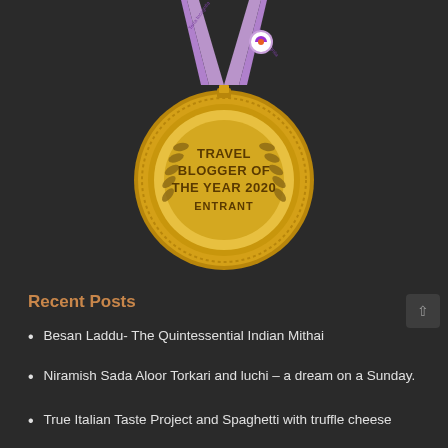[Figure (illustration): A gold award medal with purple ribbon straps showing 'Terra Incognita' branding. The medal reads 'TRAVEL BLOGGER OF THE YEAR 2020 ENTRANT' with laurel wreath decoration.]
Recent Posts
Besan Laddu- The Quintessential Indian Mithai
Niramish Sada Aloor Torkari and luchi – a dream on a Sunday.
True Italian Taste Project and Spaghetti with truffle cheese